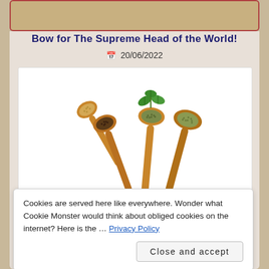Bow for The Supreme Head of the World!
20/06/2022
[Figure (photo): Four wooden spoons arranged in a fan pattern, each containing different dried herbs and spices, with a green basil leaf garnish on top, photographed on a white background.]
Cookies are served here like everywhere. Wonder what Cookie Monster would think about obliged cookies on the internet? Here is the ... Privacy Policy
Close and accept